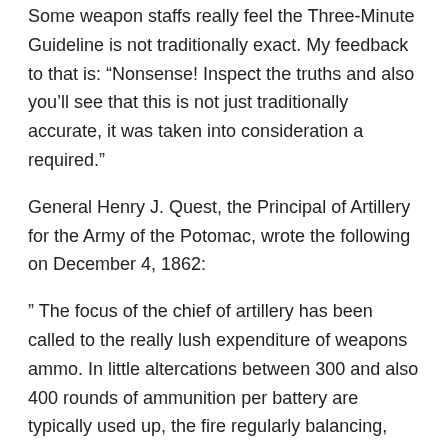Some weapon staffs really feel the Three-Minute Guideline is not traditionally exact. My feedback to that is: “Nonsense! Inspect the truths and also you’ll see that this is not just traditionally accurate, it was taken into consideration a required.”
General Henry J. Quest, the Principal of Artillery for the Army of the Potomac, wrote the following on December 4, 1862:
“ The focus of the chief of artillery has been called to the really lush expenditure of weapons ammo. In little altercations between 300 and also 400 rounds of ammunition per battery are typically used up, the fire regularly balancing, and sometimes going beyond, one round per min per weapon, while generally involvements batteries have actually been understood to expend all their ammunition in little over a hr and also a half. The regulations which direct policemans of artillery are very noticeably set in the Orders of the 12th of September 1862 … A policeman who uses up ammo improperly shows his lack of knowledge of the appropriate use his arms and also a lack of ability for the command of artillery.